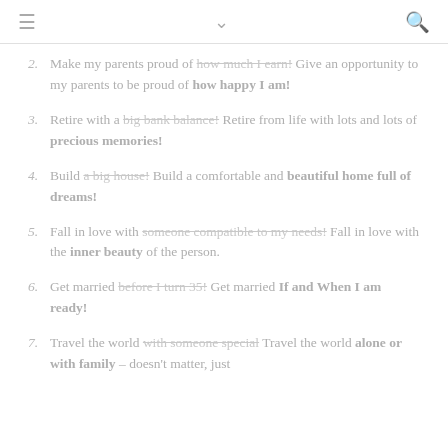≡  ∨  🔍
2. Make my parents proud of [strikethrough: how much I earn!] Give an opportunity to my parents to be proud of how happy I am!
3. Retire with a [strikethrough: big bank balance!] Retire from life with lots and lots of precious memories!
4. Build [strikethrough: a big house!] Build a comfortable and beautiful home full of dreams!
5. Fall in love with [strikethrough: someone compatible to my needs!] Fall in love with the inner beauty of the person.
6. Get married [strikethrough: before I turn 35!] Get married If and When I am ready!
7. Travel the world [strikethrough: with someone special] Travel the world alone or with family – doesn't matter, just